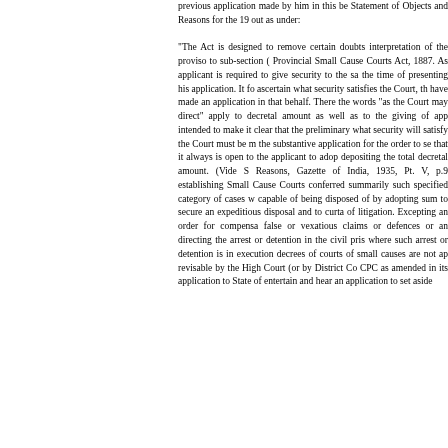previous application made by him in this be Statement of Objects and Reasons for the 19 out as under:

"The Act is designed to remove certain doubts interpretation of the proviso to sub-section ( Provincial Small Cause Courts Act, 1887. As applicant is required to give security to the sa the time of presenting his application. It fo ascertain what security satisfies the Court, th have made an application in that behalf. There the words "as the Court may direct" apply to decretal amount as well as to the giving of app intended to make it clear that the preliminary what security will satisfy the Court must be m the substantive application for the order to se that it always is open to the applicant to adop depositing the total decretal amount. (Vide S Reasons, Gazette of India, 1935, Pt. V, p.9 establishing Small Cause Courts conferred summarily such specified category of cases w capable of being disposed of by adopting sum to secure an expeditious disposal and to curta of litigation. Excepting an order for compensa false or vexatious claims or defences or an directing the arrest or detention in the civil pris where such arrest or detention is in execution decrees of courts of small causes are not ap revisable by the High Court (or by District Co CPC as amended in its application to State of entertain and hear an application to set aside